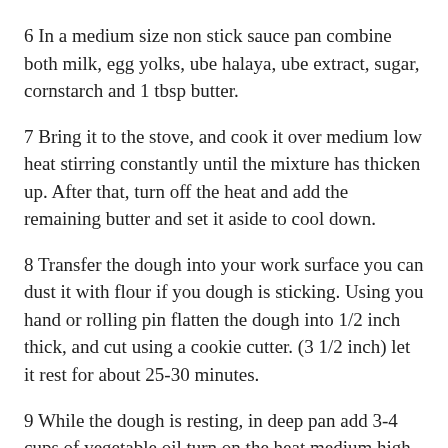6 In a medium size non stick sauce pan combine both milk, egg yolks, ube halaya, ube extract, sugar, cornstarch and 1 tbsp butter.
7 Bring it to the stove, and cook it over medium low heat stirring constantly until the mixture has thicken up. After that, turn off the heat and add the remaining butter and set it aside to cool down.
8 Transfer the dough into your work surface you can dust it with flour if you dough is sticking. Using you hand or rolling pin flatten the dough into 1/2 inch thick, and cut using a cookie cutter. (3 1/2 inch) let it rest for about 25-30 minutes.
9 While the dough is resting, in deep pan add 3-4 cups of vegetable oil turn on the heat medium high. Fry each cut dough until its slightly golden brown about 6-8 minutes.
10 Roll the donut into your prefered coating granulated sugar or powdered sugar. Then using a skewer poke the donut (sideways) and make a whole. Using a piping bag or just a ziplock bag, add